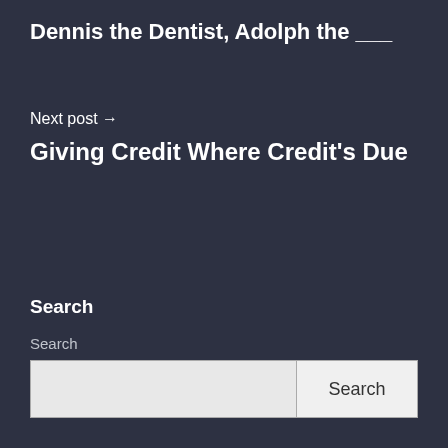Dennis the Dentist, Adolph the ___
Next post →
Giving Credit Where Credit's Due
Search
Search
Search